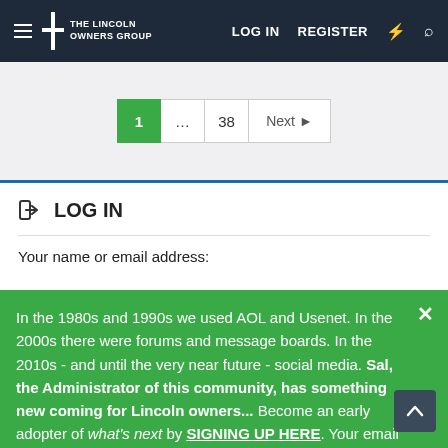THE LINCOLN OWNERS GROUP — LOG IN  REGISTER
1  ...  38  Next
LOG IN
Your name or email address:
In the 1980s and 1990s we used AOL and Usenet. In the 2000s there were forums and message boards. In the 2010s - and until the very near future - social media. Sal, the Administrator of this community, has something new coming for Lincoln owners... Become an early adopter of what's next by SIGNING UP HERE. Your email address will not be sold or used in any way other than us communicating more details as we prepare for launch - and we will not communicate often.